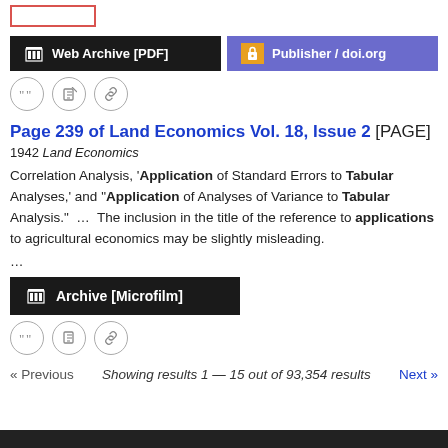[Figure (screenshot): Top stub/box placeholder with red border]
[Figure (screenshot): Web Archive [PDF] button (black) and Publisher / doi.org button (purple/blue) side by side]
[Figure (screenshot): Three circular action icon buttons: quote, edit, link]
Page 239 of Land Economics Vol. 18, Issue 2 [PAGE]
1942 Land Economics
Correlation Analysis, 'Application of Standard Errors to Tabular Analyses,' and "Application of Analyses of Variance to Tabular Analysis." ... The inclusion in the title of the reference to applications to agricultural economics may be slightly misleading.
...
[Figure (screenshot): Archive [Microfilm] button (black)]
[Figure (screenshot): Three circular action icon buttons: quote, edit, link]
« Previous    Showing results 1 — 15 out of 93,354 results    Next »